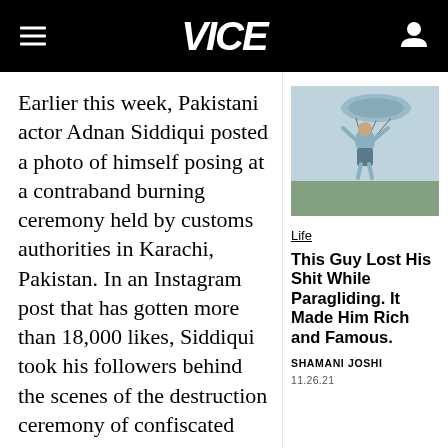VICE
Earlier this week, Pakistani actor Adnan Siddiqui posted a photo of himself posing at a contraband burning ceremony held by customs authorities in Karachi, Pakistan. In an Instagram post that has gotten more than 18,000 likes, Siddiqui took his followers behind the scenes of the destruction ceremony of confiscated
[Figure (photo): Person paragliding in misty/foggy conditions, arms raised]
Life
This Guy Lost His Shit While Paragliding. It Made Him Rich and Famous.
SHAMANI JOSHI
11.26.21